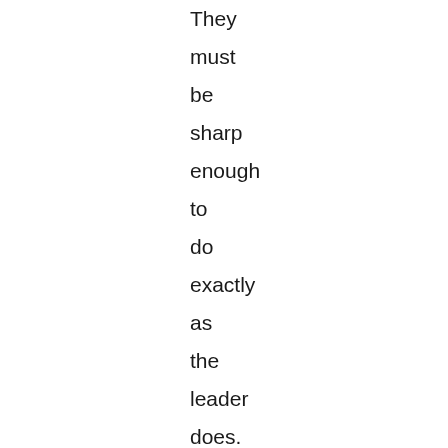They must be sharp enough to do exactly as the leader does.

After Running for a moment or two in the ordinary running step, the leader changes to